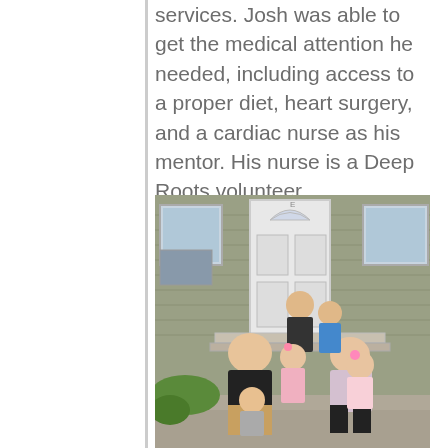services. Josh was able to get the medical attention he needed, including access to a proper diet, heart surgery, and a cardiac nurse as his mentor. His nurse is a Deep Roots volunteer.
[Figure (photo): A family photo of a man, woman, and five children posing in front of a house with a white front door, tan/green siding, and windows. They are seated and standing on front steps.]